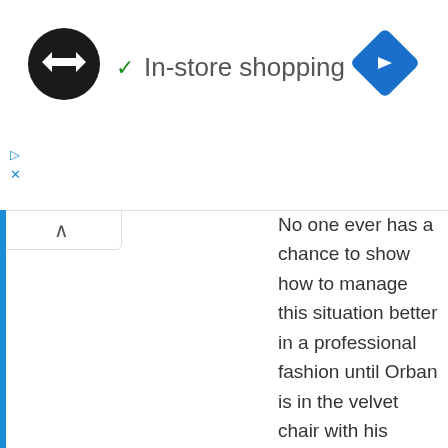[Figure (screenshot): Screenshot of a UI showing a logo circle with arrow symbols, a checkmark and 'In-store shopping' label, a blue navigation diamond icon, play and close icons, and a collapse tab with caret.]
No one ever has a chance to show how to manage this situation better in a professional fashion until Orban is in the velvet chair with his private army the TEK behind him and takes good care of any capable opponents of him.
Orban's opponents who tried to show